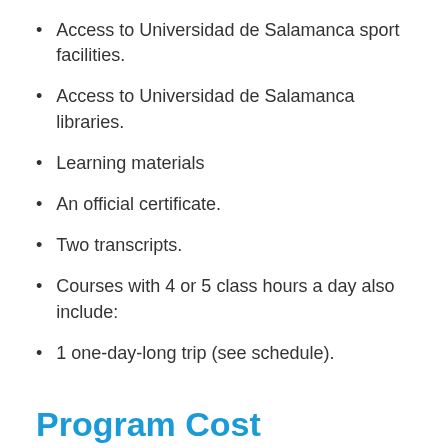Access to Universidad de Salamanca sport facilities.
Access to Universidad de Salamanca libraries.
Learning materials
An official certificate.
Two transcripts.
Courses with 4 or 5 class hours a day also include:
1 one-day-long trip (see schedule).
Program Cost
Tution − € 1,735 / [currency amount="1735" from="EUR" to="USD" show_from=false